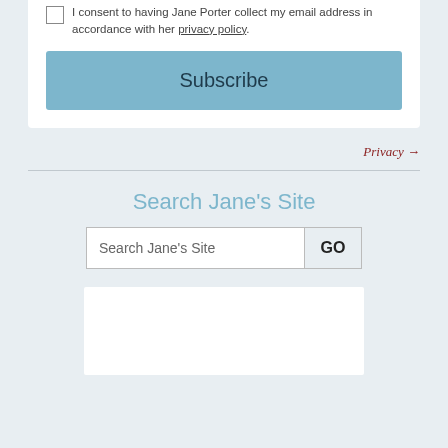I consent to having Jane Porter collect my email address in accordance with her privacy policy.
Subscribe
Privacy →
Search Jane's Site
Search Jane's Site  GO
[Figure (other): White rectangular advertisement or content placeholder box]